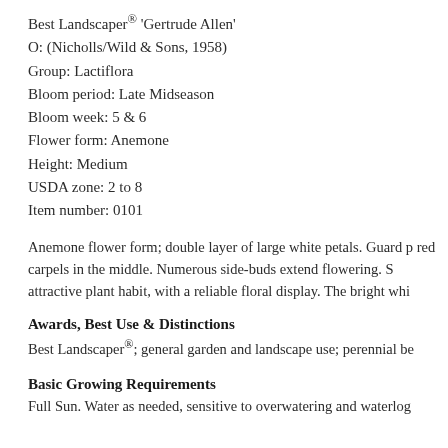Best Landscaper® 'Gertrude Allen'
O: (Nicholls/Wild & Sons, 1958)
Group: Lactiflora
Bloom period: Late Midseason
Bloom week: 5 & 6
Flower form: Anemone
Height: Medium
USDA zone: 2 to 8
Item number: 0101
Anemone flower form; double layer of large white petals. Guard p... red carpels in the middle. Numerous side-buds extend flowering. S... attractive plant habit, with a reliable floral display. The bright whi...
Awards, Best Use & Distinctions
Best Landscaper®; general garden and landscape use; perennial be...
Basic Growing Requirements
Full Sun. Water as needed, sensitive to overwatering and waterlog...